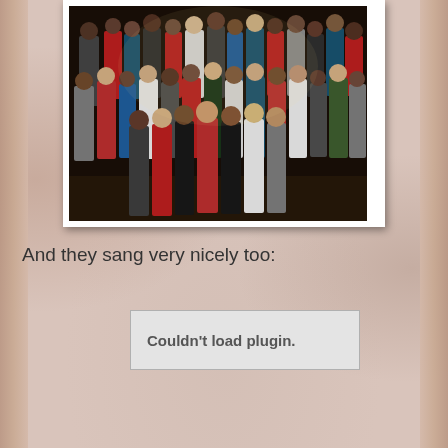[Figure (photo): Group photo of children (school choir) standing in rows on a stage, wearing colorful outfits including red, white, teal, gray, and black. Dark curtain background.]
And they sang very nicely too:
Couldn't load plugin.